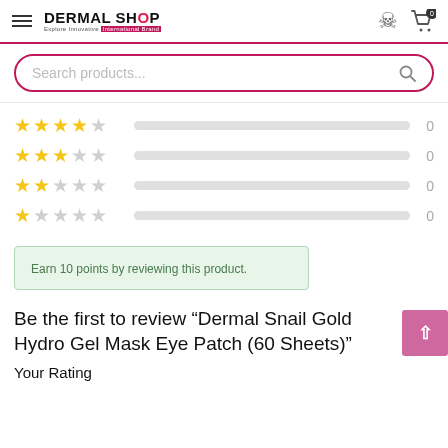DERMAL SHOP — Explore Innovative International Brand
Search products...
4 stars: 0
3 stars: 0
2 stars: 0
1 star: 0
Earn 10 points by reviewing this product.
Be the first to review “Dermal Snail Gold Hydro Gel Mask Eye Patch (60 Sheets)”
Your Rating